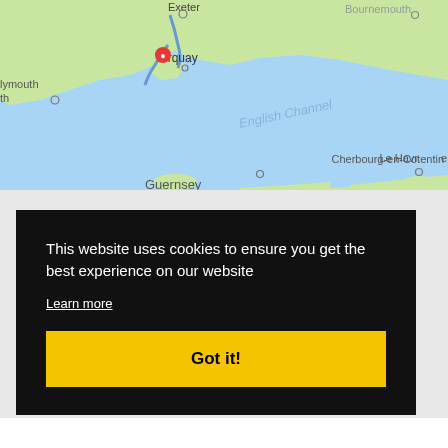[Figure (map): Google Maps screenshot showing part of South West England and the English Channel, with city markers including Exeter, Torquay, Plymouth, Bournemouth, Cherbourg-en-Cotentin, Guernsey, and Le Havre. Torquay has a red location pin. The sea area is labeled English Channel.]
This website uses cookies to ensure you get the best experience on our website
Learn more
Got it!
London City Airport.